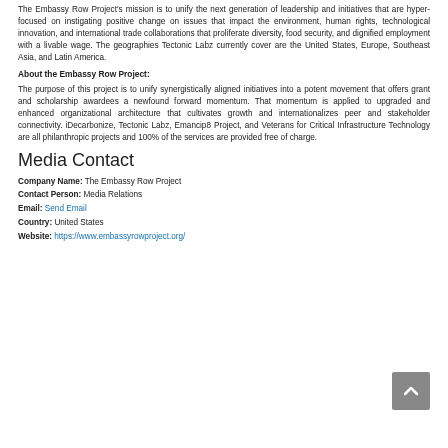The Embassy Row Project's mission is to unify the next generation of leadership and initiatives that are hyper-focused on instigating positive change on issues that impact the environment, human rights, technological innovation, and international trade collaborations that proliferate diversity, food security, and dignified employment with a livable wage. The geographies Tectonic Labz currently cover are the United States, Europe, Southeast Asia, and Latin America.
About the Embassy Row Project:
The purpose of this project is to unify synergistically aligned initiatives into a potent movement that offers grant and scholarship awardees a newfound forward momentum. That momentum is applied to upgraded and enhanced organizational architecture that cultivates growth and internationalizes peer and stakeholder connectivity. iDecarbonize, Tectonic Labz, Emancip8 Project, and Veterans for Critical Infrastructure Technology are all philanthropic projects and 100% of the services are provided free of charge.
Media Contact
Company Name: The Embassy Row Project
Contact Person: Media Relations
Email: Send Email
Country: United States
Website: https://www.embassyrowproject.org/